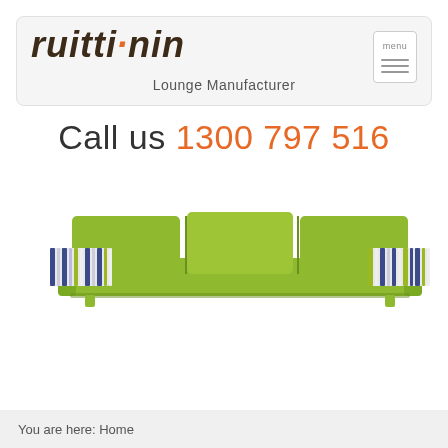[Figure (logo): Ruitti Din logo in bold dark brown italic font with orange dots, with tagline 'Lounge Manufacturer' and a menu button top right]
Call us 1300 797 516
[Figure (photo): A green three-seat sofa with blue and white striped decorative pillows on each end, viewed from front]
You are here: Home